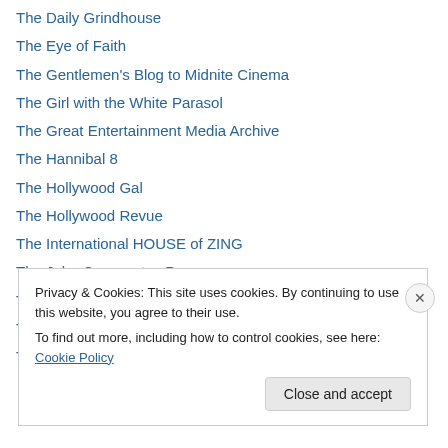The Daily Grindhouse
The Eye of Faith
The Gentlemen's Blog to Midnite Cinema
The Girl with the White Parasol
The Great Entertainment Media Archive
The Hannibal 8
The Hollywood Gal
The Hollywood Revue
The International HOUSE of ZING
The John Cassavetes Pages
The Kitsch and the Curious
The Lady Eve's Reel Life
The Large Association of Movie Blogs
Privacy & Cookies: This site uses cookies. By continuing to use this website, you agree to their use. To find out more, including how to control cookies, see here: Cookie Policy
Close and accept